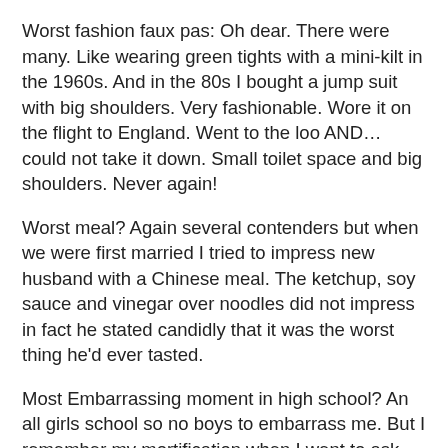Worst fashion faux pas: Oh dear. There were many. Like wearing green tights with a mini-kilt in the 1960s. And in the 80s I bought a jump suit with big shoulders. Very fashionable. Wore it on the flight to England. Went to the loo AND… could not take it down. Small toilet space and big shoulders. Never again!
Worst meal? Again several contenders but when we were first married I tried to impress new husband with a Chinese meal. The ketchup, soy sauce and vinegar over noodles did not impress in fact he stated candidly that it was the worst thing he'd ever tasted.
Most Embarrassing moment in high school? An all girls school so no boys to embarrass me. But I remember my mortification when I went to ask my favorite teacher something and stood outside the teacher's lounge only to hear her say "Oh God. Not again. What does she want now?"
As an adult?  Several that can't be printed here, but my favorite was when we lived in Texas. My friend went jogging every morning. I was driving back from school run and saw